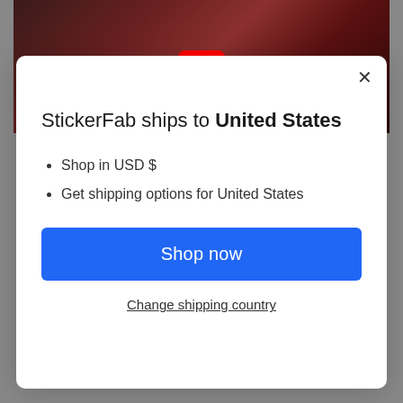[Figure (screenshot): Vehicle tail lights photo with YouTube play button overlay]
StickerFab ships to United States
Shop in USD $
Get shipping options for United States
Shop now
Change shipping country